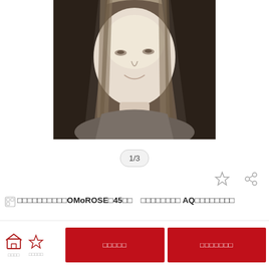[Figure (photo): Black and white grayscale photo of a woman with long straight hair, smiling at the camera, close-up portrait shot]
1/3
□□□□□□□□□□OMoROSE□45□□　□□□□□□□□ AQ□□□□□□□□
□□□□□
□□□□□□□